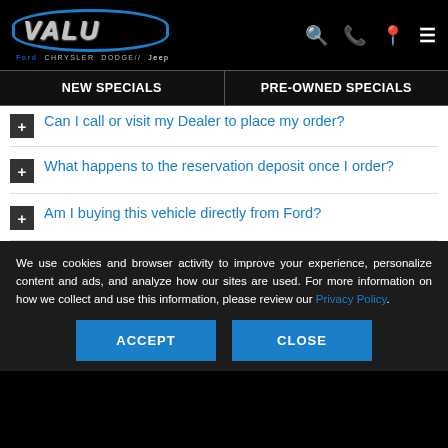VALU Ford Chrysler Dodge Jeep – New Specials | Pre-Owned Specials
+ Can I call or visit my Dealer to place my order?
+ What happens to the reservation deposit once I order?
+ Am I buying this vehicle directly from Ford?
We use cookies and browser activity to improve your experience, personalize content and ads, and analyze how our sites are used. For more information on how we collect and use this information, please review our Privacy Policy.
ACCEPT  CLOSE